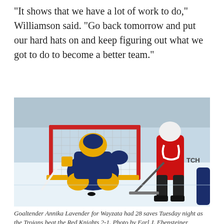“It shows that we have a lot of work to do,” Williamson said. “Go back tomorrow and put our hard hats on and keep figuring out what we got to do to become a better team.”
[Figure (photo): A hockey game scene showing a goaltender in navy and yellow Wayzata gear making a save in front of the net, with a red-uniformed opposing player approaching from the right side on an ice rink.]
Goaltender Annika Lavender for Wayzata had 28 saves Tuesday night as the Trojans beat the Red Knights 2-1. Photo by Earl J. Ebensteiner,